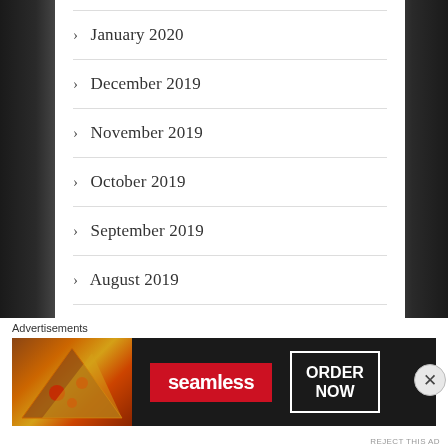> January 2020
> December 2019
> November 2019
> October 2019
> September 2019
> August 2019
> July 2019
Advertisements
[Figure (screenshot): Seamless food delivery advertisement banner showing pizza image on left, seamless logo in red center, and ORDER NOW button on right]